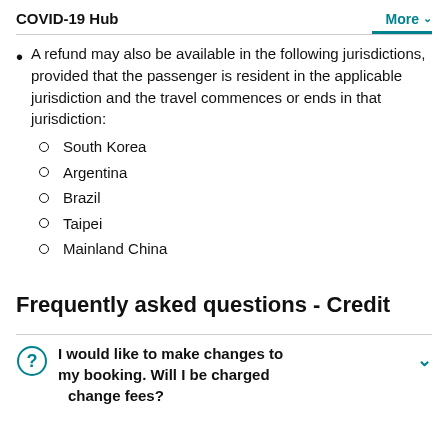COVID-19 Hub   More
A refund may also be available in the following jurisdictions, provided that the passenger is resident in the applicable jurisdiction and the travel commences or ends in that jurisdiction:
South Korea
Argentina
Brazil
Taipei
Mainland China
Frequently asked questions - Credit
I would like to make changes to my booking. Will I be charged change fees?